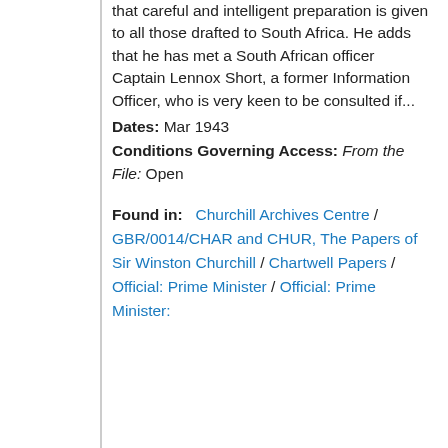that careful and intelligent preparation is given to all those drafted to South Africa. He adds that he has met a South African officer Captain Lennox Short, a former Information Officer, who is very keen to be consulted if...
Dates: Mar 1943
Conditions Governing Access: From the File: Open
Found in: Churchill Archives Centre / GBR/0014/CHAR and CHUR, The Papers of Sir Winston Churchill / Chartwell Papers / Official: Prime Minister / Official: Prime Minister: